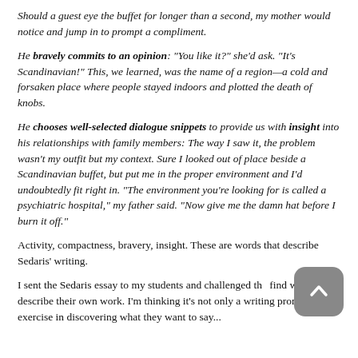Should a guest eye the buffet for longer than a second, my mother would notice and jump in to prompt a compliment.
He bravely commits to an opinion: "You like it?" she'd ask. "It's Scandinavian!" This, we learned, was the name of a region—a cold and forsaken place where people stayed indoors and plotted the death of knobs.
He chooses well-selected dialogue snippets to provide us with insight into his relationships with family members: The way I saw it, the problem wasn't my outfit but my context. Sure I looked out of place beside a Scandinavian buffet, but put me in the proper environment and I'd undoubtedly fit right in. "The environment you're looking for is called a psychiatric hospital," my father said. "Now give me the damn hat before I burn it off."
Activity, compactness, bravery, insight. These are words that describe Sedaris' writing.
I sent the Sedaris essay to my students and challenged the find words to describe their own work. I'm thinking it's not only a writing prompt but an exercise in discovering what they want to say...